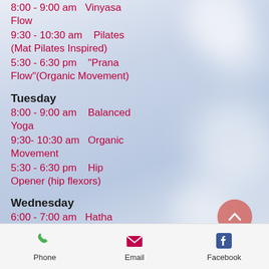8:00 - 9:00 am  Vinyasa Flow
9:30 - 10:30 am   Pilates (Mat Pilates Inspired)
5:30 - 6:30 pm   "Prana Flow"(Organic Movement)
Tuesday
8:00 - 9:00 am   Balanced Yoga
9:30- 10:30 am  Organic Movement
5:30 - 6:30 pm   Hip Opener (hip flexors)
Wednesday
6:00 - 7:00 am  Hatha Yoga
8:00 - 9:00 am  Vinyasa Flow
9:30 - 10:30 am  Core Strength (Pil...
Phone  Email  Facebook